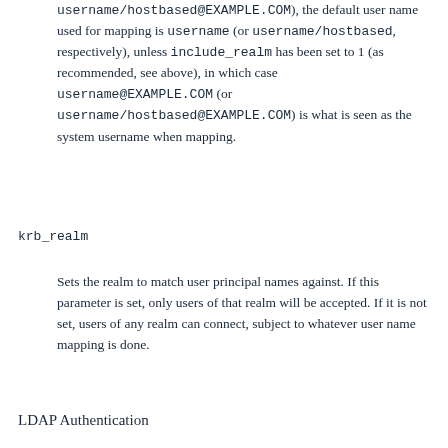username/hostbased@EXAMPLE.COM), the default user name used for mapping is username (or username/hostbased, respectively), unless include_realm has been set to 1 (as recommended, see above), in which case username@EXAMPLE.COM (or username/hostbased@EXAMPLE.COM) is what is seen as the system username when mapping.
krb_realm
Sets the realm to match user principal names against. If this parameter is set, only users of that realm will be accepted. If it is not set, users of any realm can connect, subject to whatever user name mapping is done.
LDAP Authentication